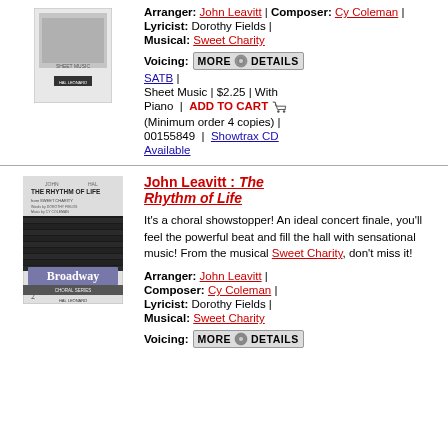[Figure (illustration): Small sheet music cover thumbnail at top left]
Arranger: John Leavitt | Composer: Cy Coleman | Lyricist: Dorothy Fields | Musical: Sweet Charity
Voicing: MORE DETAILS SATB | Sheet Music | $2.25 | With Piano | ADD TO CART (Minimum order 4 copies) | 00155849 | Showtrax CD Available
[Figure (illustration): The Rhythm of Life sheet music cover with 'Classic Broadway Choral Series' branding]
John Leavitt : The Rhythm of Life
It's a choral showstopper! An ideal concert finale, you'll feel the powerful beat and fill the hall with sensational music! From the musical Sweet Charity, don't miss it!
Arranger: John Leavitt | Composer: Cy Coleman | Lyricist: Dorothy Fields | Musical: Sweet Charity
Voicing: MORE DETAILS